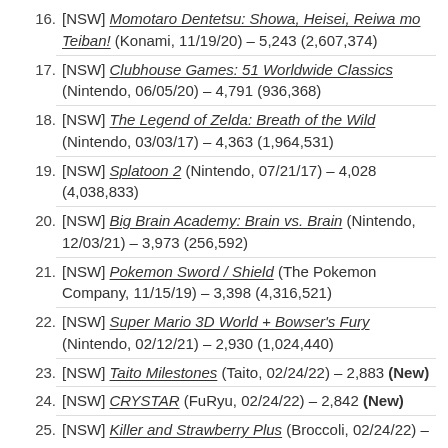16. [NSW] Momotaro Dentetsu: Showa, Heisei, Reiwa mo Teiban! (Konami, 11/19/20) – 5,243 (2,607,374)
17. [NSW] Clubhouse Games: 51 Worldwide Classics (Nintendo, 06/05/20) – 4,791 (936,368)
18. [NSW] The Legend of Zelda: Breath of the Wild (Nintendo, 03/03/17) – 4,363 (1,964,531)
19. [NSW] Splatoon 2 (Nintendo, 07/21/17) – 4,028 (4,038,833)
20. [NSW] Big Brain Academy: Brain vs. Brain (Nintendo, 12/03/21) – 3,973 (256,592)
21. [NSW] Pokemon Sword / Shield (The Pokemon Company, 11/15/19) – 3,398 (4,316,521)
22. [NSW] Super Mario 3D World + Bowser's Fury (Nintendo, 02/12/21) – 2,930 (1,024,440)
23. [NSW] Taito Milestones (Taito, 02/24/22) – 2,883 (New)
24. [NSW] CRYSTAR (FuRyu, 02/24/22) – 2,842 (New)
25. [NSW] Killer and Strawberry Plus (Broccoli, 02/24/22) –